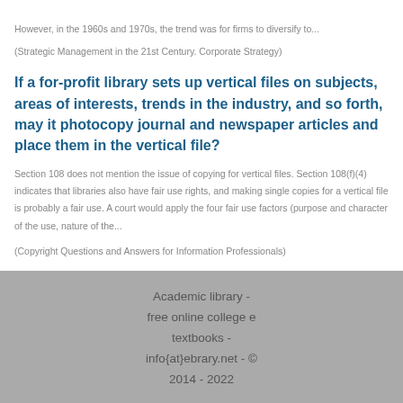However, in the 1960s and 1970s, the trend was for firms to diversify to...
(Strategic Management in the 21st Century. Corporate Strategy)
If a for-profit library sets up vertical files on subjects, areas of interests, trends in the industry, and so forth, may it photocopy journal and newspaper articles and place them in the vertical file?
Section 108 does not mention the issue of copying for vertical files. Section 108(f)(4) indicates that libraries also have fair use rights, and making single copies for a vertical file is probably a fair use. A court would apply the four fair use factors (purpose and character of the use, nature of the...
(Copyright Questions and Answers for Information Professionals)
Academic library - free online college e textbooks - info{at}ebrary.net - © 2014 - 2022